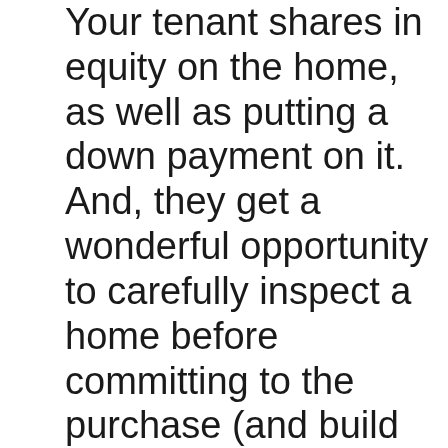Your tenant shares in equity on the home, as well as putting a down payment on it. And, they get a wonderful opportunity to carefully inspect a home before committing to the purchase (and build equity while making their decision!). The tenants also receive tax deductions that they would not be